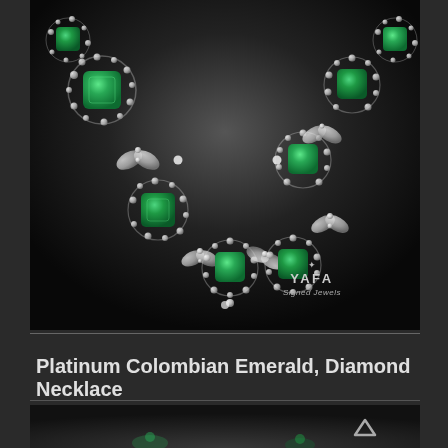[Figure (photo): Platinum Colombian Emerald and Diamond Necklace on dark background, showing large cushion-cut emeralds surrounded by diamonds in a platinum setting, photographed on black background with YAFA Signed Jewels watermark]
Platinum Colombian Emerald, Diamond Necklace
[Figure (photo): Partial view of second jewelry item at bottom of page with scroll-up arrow indicator]